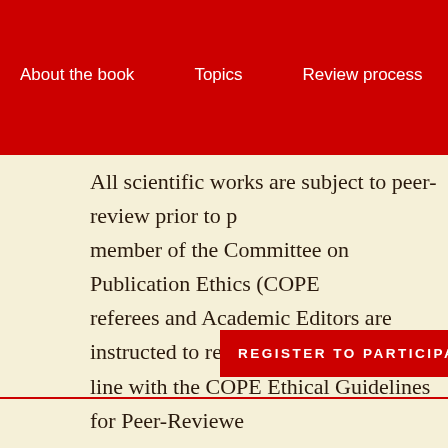About the book   Topics   Review process   Index
All scientific works are subject to peer-review prior to p[ublication]. [We are a] member of the Committee on Publication Ethics (COPE[). Our] referees and Academic Editors are instructed to review s[ubmissions] in line with the COPE Ethical Guidelines for Peer-Reviewe[rs].
REGISTER TO PARTICIPAT[E]